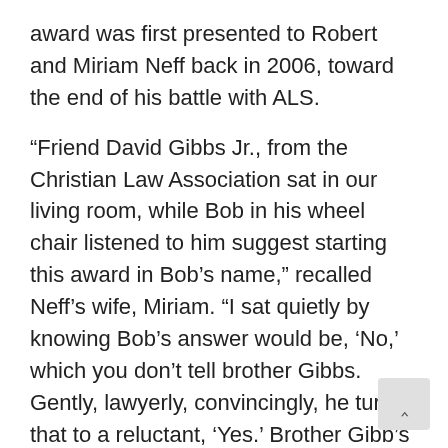award was first presented to Robert and Miriam Neff back in 2006, toward the end of his battle with ALS.
“Friend David Gibbs Jr., from the Christian Law Association sat in our living room, while Bob in his wheel chair listened to him suggest starting this award in Bob’s name,” recalled Neff’s wife, Miriam. “I sat quietly by knowing Bob’s answer would be, ‘No,’ which you don’t tell brother Gibbs. Gently, lawyerly, convincingly, he turned that to a reluctant, ‘Yes.’ Brother Gibb’s final argument was, ‘It will be to encourage those coming after you.’”
Moody Radio leadership – along with Gibbs of the Christian Law Association, which has